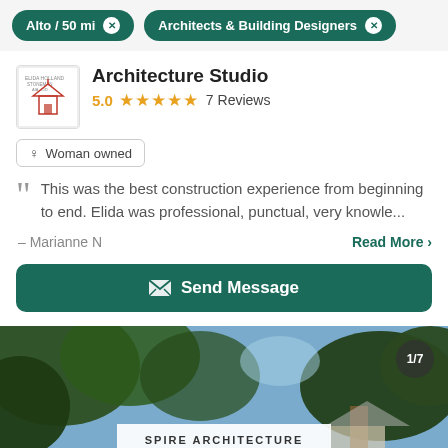Alto / 50 mi   Architects & Building Designers
Architecture Studio
5.0  ★★★★★  7 Reviews
♀ Woman owned
This was the best construction experience from beginning to end. Elida was professional, punctual, very knowle...
– Marianne N    Read More >
Send Message
[Figure (screenshot): Bottom photo showing trees and sky with a white Spire Architecture logo card overlay and 1/7 counter badge]